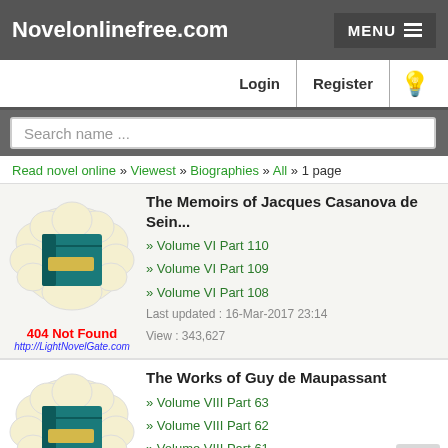Novelonlinefree.com
Login | Register
Search name ...
Read novel online » Viewest » Biographies » All » 1 page
[Figure (illustration): Book cover thumbnail with cloud border, 404 Not Found error text, http://LightNovelGate.com]
The Memoirs of Jacques Casanova de Sein...
» Volume VI Part 110
» Volume VI Part 109
» Volume VI Part 108
Last updated : 16-Mar-2017 23:14
View : 343,627
[Figure (illustration): Book cover thumbnail with cloud border]
The Works of Guy de Maupassant
» Volume VIII Part 63
» Volume VIII Part 62
» Volume VIII Part 61
Last updated : 14-Mar-2017 22:34